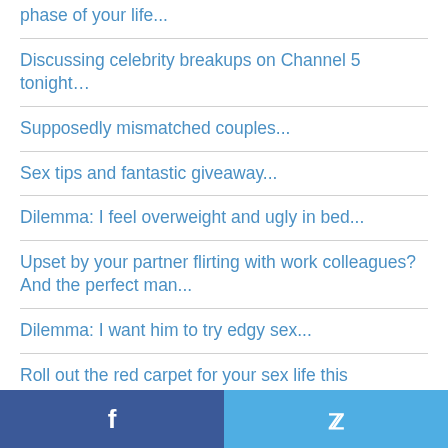phase of your life...
Discussing celebrity breakups on Channel 5 tonight…
Supposedly mismatched couples...
Sex tips and fantastic giveaway...
Dilemma: I feel overweight and ugly in bed...
Upset by your partner flirting with work colleagues? And the perfect man...
Dilemma: I want him to try edgy sex...
Roll out the red carpet for your sex life this…